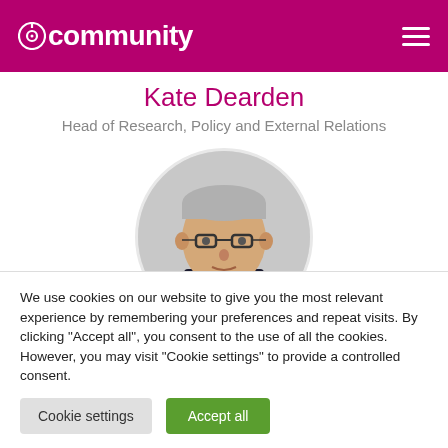community
Kate Dearden
Head of Research, Policy and External Relations
[Figure (photo): Circular profile photo of a middle-aged man with grey hair wearing glasses and a dark suit jacket]
We use cookies on our website to give you the most relevant experience by remembering your preferences and repeat visits. By clicking "Accept all", you consent to the use of all the cookies. However, you may visit "Cookie settings" to provide a controlled consent.
Cookie settings   Accept all